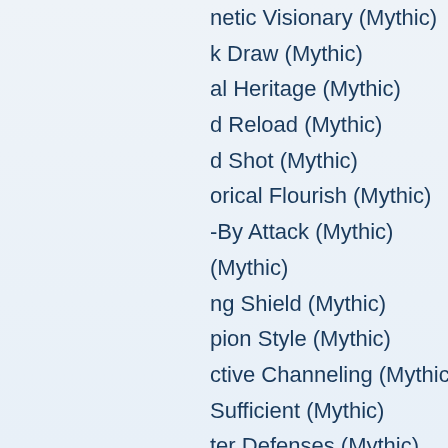…netic Visionary (Mythic)
…k Draw (Mythic)
…al Heritage (Mythic)
…d Reload (Mythic)
…d Shot (Mythic)
…orical Flourish (Mythic)
…-By Attack (Mythic)
… (Mythic)
…ng Shield (Mythic)
…pion Style (Mythic)
…ctive Channeling (Mythic)
…Sufficient (Mythic)
…ter Defenses (Mythic)
…ld Focus (Mythic)
…ld Slam (Mythic)
…t on the Run (Mythic)
…Focus (Mythic)
…ch Arrows (Mythic)
…able (Mythic)